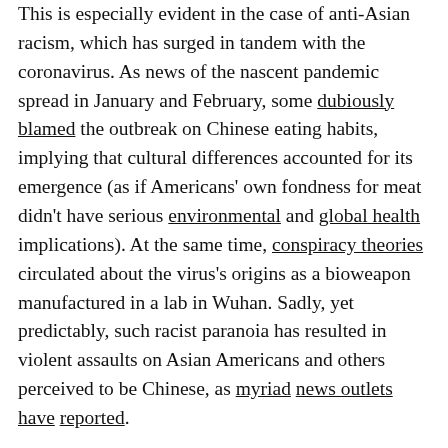This is especially evident in the case of anti-Asian racism, which has surged in tandem with the coronavirus. As news of the nascent pandemic spread in January and February, some dubiously blamed the outbreak on Chinese eating habits, implying that cultural differences accounted for its emergence (as if Americans' own fondness for meat didn't have serious environmental and global health implications). At the same time, conspiracy theories circulated about the virus's origins as a bioweapon manufactured in a lab in Wuhan. Sadly, yet predictably, such racist paranoia has resulted in violent assaults on Asian Americans and others perceived to be Chinese, as myriad news outlets have reported.
The immediate background for this surge in hateful rhetoric and behavior is clearly the growing pandemic, which originated in China (though just how the virus made its leap into humans remains far from certain). Trump has added fuel to the fire by referring to the coronavirus as